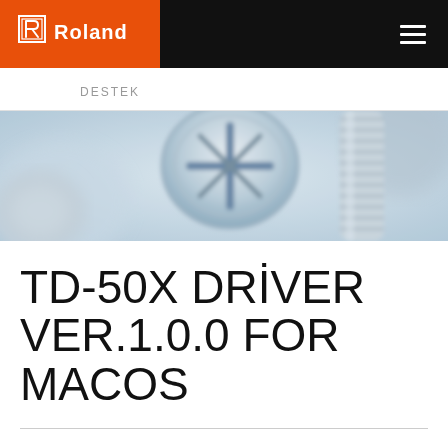Roland — DESTEK
DESTEK
[Figure (photo): Close-up macro photograph of metallic screws and bolts with blurred background, steel blue tones]
TD-50X DRİVER VER.1.0.0 FOR MACOS